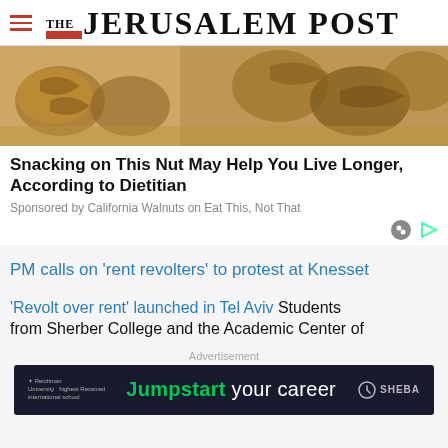THE JERUSALEM POST
[Figure (photo): Close-up photo of walnuts on a burlap surface]
Snacking on This Nut May Help You Live Longer, According to Dietitian
Sponsored by California Walnuts on Eat This, Not That
PM calls on 'rent revolters' to protest at Knesset
'Revolt over rent' launched in Tel Aviv Students from Sherber College and the Academic Center of
Advertisement
[Figure (screenshot): Advertisement banner: Reichman University / Jumpstart your career / SHEBA logo]